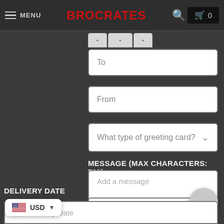MENU | BROCRATES | 🔍 | 🛒 0
To
From
What type of greeting card?
MESSAGE (MAX CHARACTERS: 500)
Add a message
DELIVERY DATE
Delivery Date
USD